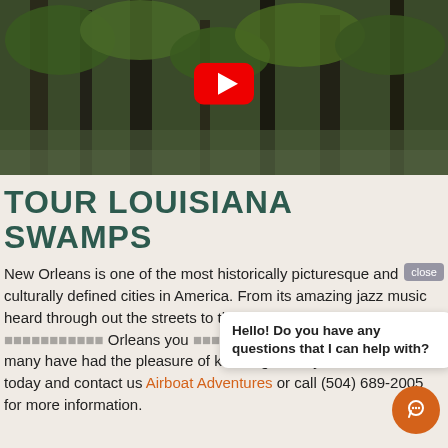[Figure (screenshot): Video thumbnail showing Louisiana swamp trees with YouTube play button overlay]
TOUR LOUISIANA SWAMPS
New Orleans is one of the most historically picturesque and culturally defined cities in America. From its amazing jazz music heard through out the streets to the exquisite dining experienced [overlapped] Orleans you [overlapped] a side of Louisiana not many have had the pleasure of knowing. Start your adventure today and contact us Airboat Adventures or call (504) 689-2005 for more information.
Hello! Do you have any questions that I can help with?